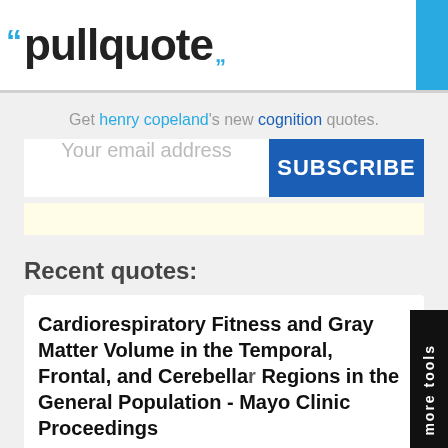pullquote
Get henry copeland's new cognition quotes.
Your email address
SUBSCRIBE
Recent quotes:
Cardiorespiratory Fitness and Gray Matter Volume in the Temporal, Frontal, and Cerebellar Regions in the General Population - Mayo Clinic Proceedings
Volumetric analyses revealed associations of CRF with gray matt